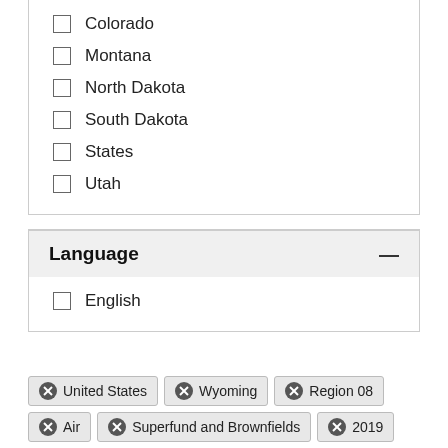Colorado
Montana
North Dakota
South Dakota
States
Utah
Language
English
United States  Wyoming  Region 08  Air  Superfund and Brownfields  2019
Remove all filters